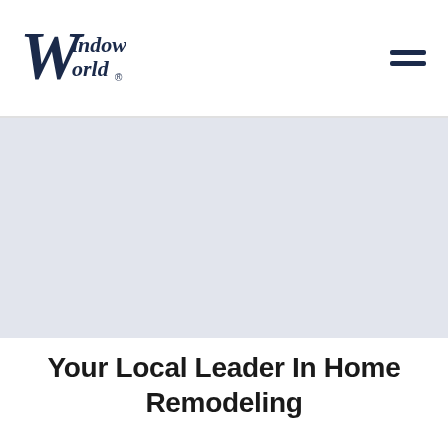[Figure (logo): Window World logo — stylized script 'W' with 'indow' and 'orld' text in dark navy blue]
[Figure (other): Hamburger menu icon — two horizontal dark navy lines]
[Figure (photo): Large hero image area with light blue-grey background placeholder]
Your Local Leader In Home Remodeling